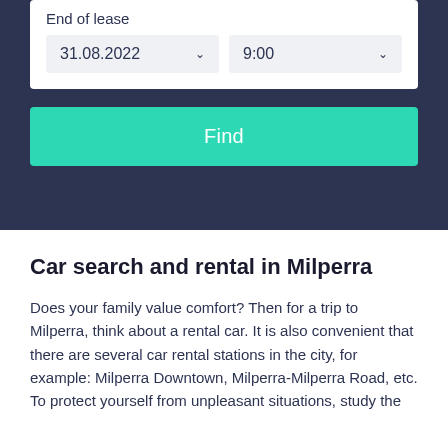[Figure (screenshot): Car rental search form UI showing End of lease date (31.08.2022) and time (9:00) dropdowns, and a teal Find button, on a dark navy background]
Car search and rental in Milperra
Does your family value comfort? Then for a trip to Milperra, think about a rental car. It is also convenient that there are several car rental stations in the city, for example: Milperra Downtown, Milperra-Milperra Road, etc.
To protect yourself from unpleasant situations, study the